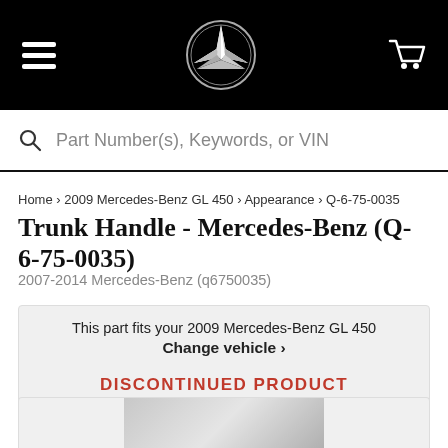Mercedes-Benz navigation header with hamburger menu, star logo, and cart icon
Part Number(s), Keywords, or VIN
Home › 2009 Mercedes-Benz GL 450 › Appearance › Q-6-75-0035
Trunk Handle - Mercedes-Benz (Q-6-75-0035)
2007-2014 Mercedes-Benz (q6750035)
This part fits your 2009 Mercedes-Benz GL 450
Change vehicle ›
DISCONTINUED PRODUCT
No Longer Available For Purchase
[Figure (photo): Partial product image of trunk handle at bottom of page]